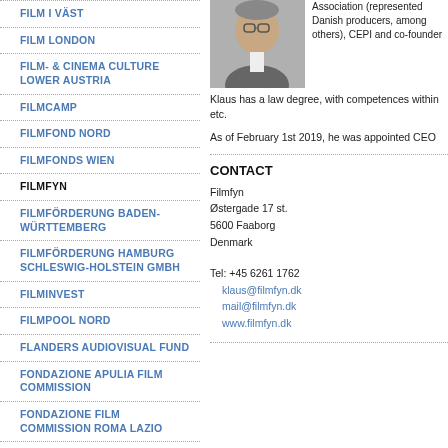FILM I VÄST
FILM LONDON
FILM- & CINEMA CULTURE LOWER AUSTRIA
FILMCAMP
FILMFOND NORD
FILMFONDS WIEN
FILMFYN
FILMFÖRDERUNG BADEN-WÜRTTEMBERG
FILMFÖRDERUNG HAMBURG SCHLESWIG-HOLSTEIN GMBH
FILMINVEST
FILMPOOL NORD
FLANDERS AUDIOVISUAL FUND
FONDAZIONE APULIA FILM COMMISSION
FONDAZIONE FILM COMMISSION ROMA LAZIO
FONDO AUDIOVISIVO FVG
[Figure (photo): Headshot of a man with glasses wearing a grey jacket]
Association (represented Danish producers, among others), CEPI and co-founder...
Klaus has a law degree, with competences within etc.
As of February 1st 2019, he was appointed CEO
CONTACT
Filmfyn
Østergade 17 st.
5600 Faaborg
Denmark
Tel: +45 6261 1762
klaus@filmfyn.dk
mail@filmfyn.dk
www.filmfyn.dk